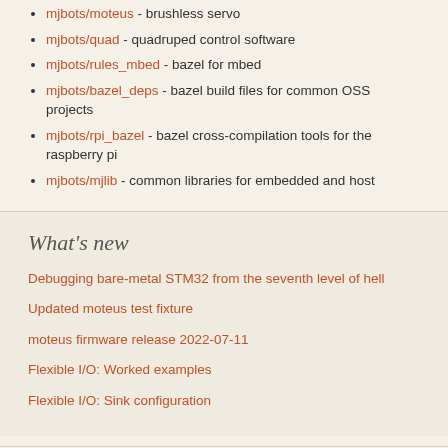mjbots/moteus - brushless servo
mjbots/quad - quadruped control software
mjbots/rules_mbed - bazel for mbed
mjbots/bazel_deps - bazel build files for common OSS projects
mjbots/rpi_bazel - bazel cross-compilation tools for the raspberry pi
mjbots/mjlib - common libraries for embedded and host
What's new
Debugging bare-metal STM32 from the seventh level of hell
Updated moteus test fixture
moteus firmware release 2022-07-11
Flexible I/O: Worked examples
Flexible I/O: Sink configuration